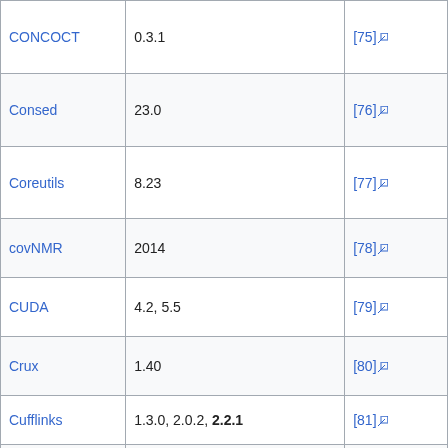|  |  |  |
| --- | --- | --- |
| CONCOCT | 0.3.1 | [75] |
| Consed | 23.0 | [76] |
| Coreutils | 8.23 | [77] |
| covNMR | 2014 | [78] |
| CUDA | 4.2, 5.5 | [79] |
| Crux | 1.40 | [80] |
| Cufflinks | 1.3.0, 2.0.2, 2.2.1 | [81] |
| Cutadapt | 1.1 | [82] |
| DAKOTA | 5.4.0 | [83] |
| ... | ... | [84] |